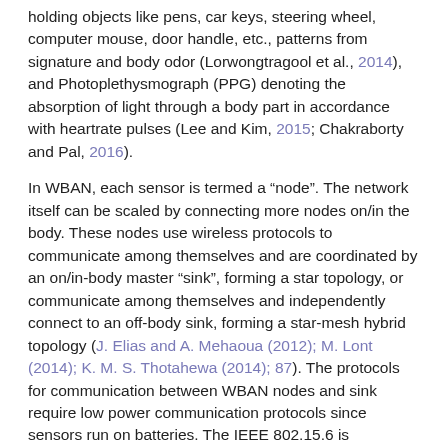holding objects like pens, car keys, steering wheel, computer mouse, door handle, etc., patterns from signature and body odor (Lorwongtragool et al., 2014), and Photoplethysmograph (PPG) denoting the absorption of light through a body part in accordance with heartrate pulses (Lee and Kim, 2015; Chakraborty and Pal, 2016).
In WBAN, each sensor is termed a “node”. The network itself can be scaled by connecting more nodes on/in the body. These nodes use wireless protocols to communicate among themselves and are coordinated by an on/in-body master “sink”, forming a star topology, or communicate among themselves and independently connect to an off-body sink, forming a star-mesh hybrid topology (J. Elias and A. Mehaoua (2012); M. Lont (2014); K. M. S. Thotahewa (2014); 87). The protocols for communication between WBAN nodes and sink require low power communication protocols since sensors run on batteries. The IEEE 802.15.6 is considered as the primary standard that defines the Medium Access Control (MAC) architecture for in- and on-body wireless communications (84). According to the standard, every node and sink has a Physical (PHY) layer (constituting a narrowband, ultra-wideband and human body communication PHY layers)